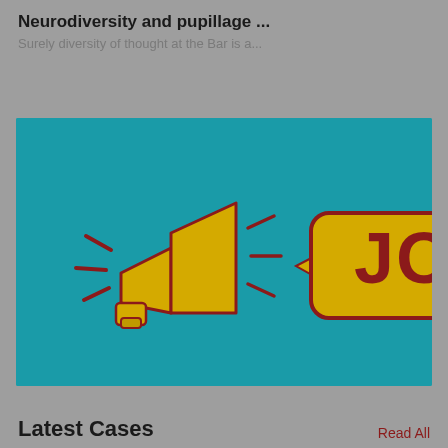Neurodiversity and pupillage ...
Surely diversity of thought at the Bar is a...
[Figure (illustration): Illustration on a teal/turquoise background showing a megaphone/bullhorn on the left with sound wave lines, and a speech bubble on the right containing the word JOBS in bold dark red letters on a yellow background with a dark red border.]
Latest Cases
Read All